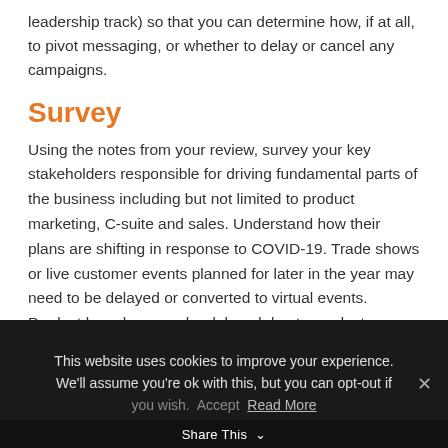leadership track) so that you can determine how, if at all, to pivot messaging, or whether to delay or cancel any campaigns.
Survey
Using the notes from your review, survey your key stakeholders responsible for driving fundamental parts of the business including but not limited to product marketing, C-suite and sales. Understand how their plans are shifting in response to COVID-19. Trade shows or live customer events planned for later in the year may need to be delayed or converted to virtual events. Product launches may be delayed due to product development issues
This website uses cookies to improve your experience. We'll assume you're ok with this, but you can opt-out if you wish. Accept   Read More
Share This